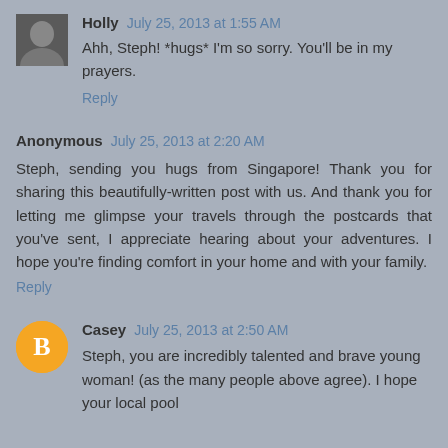Holly  July 25, 2013 at 1:55 AM
Ahh, Steph! *hugs* I'm so sorry. You'll be in my prayers.
Reply
Anonymous  July 25, 2013 at 2:20 AM
Steph, sending you hugs from Singapore! Thank you for sharing this beautifully-written post with us. And thank you for letting me glimpse your travels through the postcards that you've sent, I appreciate hearing about your adventures. I hope you're finding comfort in your home and with your family.
Reply
Casey  July 25, 2013 at 2:50 AM
Steph, you are incredibly talented and brave young woman! (as the many people above agree). I hope your local pool